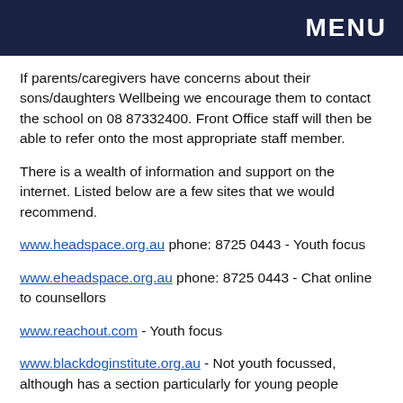MENU
If parents/caregivers have concerns about their sons/daughters Wellbeing we encourage them to contact the school on 08 87332400. Front Office staff will then be able to refer onto the most appropriate staff member.
There is a wealth of information and support on the internet. Listed below are a few sites that we would recommend.
www.headspace.org.au phone: 8725 0443 - Youth focus
www.eheadspace.org.au phone: 8725 0443 - Chat online to counsellors
www.reachout.com - Youth focus
www.blackdoginstitute.org.au - Not youth focussed, although has a section particularly for young people
www.kidshelpline.com.au phone: 1800 551 800 - Youth focus